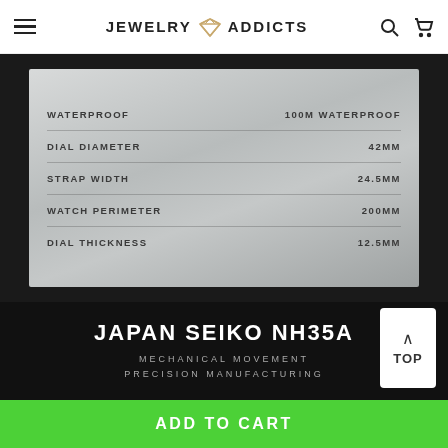JEWELRY ADDICTS
| Specification | Value |
| --- | --- |
| WATERPROOF | 100M WATERPROOF |
| DIAL DIAMETER | 42MM |
| STRAP WIDTH | 24.5MM |
| WATCH PERIMETER | 200MM |
| DIAL THICKNESS | 12.5MM |
JAPAN SEIKO NH35A
MECHANICAL MOVEMENT
PRECISION MANUFACTURING
ADD TO CART